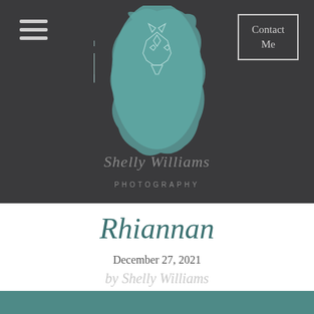[Figure (logo): Shelly Williams Photography logo: teal brushstroke background with geometric horse head illustration in white line art, script text 'Shelly Williams' and 'PHOTOGRAPHY' in spaced caps below]
Contact Me
Rhiannan
December 27, 2021
by Shelly Williams